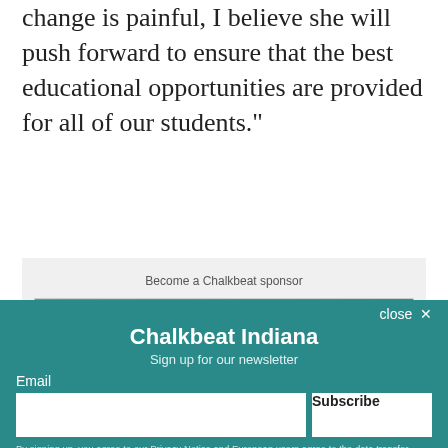change is painful, I believe she will push forward to ensure that the best educational opportunities are provided for all of our students.”
[Figure (screenshot): Advertisement banner for ReadLS: 'Learn Like a Superhero This Summer With ReadLS!' on a teal background with a cartoon child character, above a 'Become a Chalkbeat sponsor' label]
[Figure (infographic): Chalkbeat Indiana newsletter signup overlay on teal background with email input, Subscribe button, and privacy notice. Background shows partial article text about a native chosen from candidates for superintendent position.]
A native of E… chosen from among th… interviewed … nely for the superintendent position. She
close ×
Chalkbeat Indiana
Sign up for our newsletter
Email
Subscribe
By signing up, you agree to our Privacy Notice and European users agree to the data transfer policy.